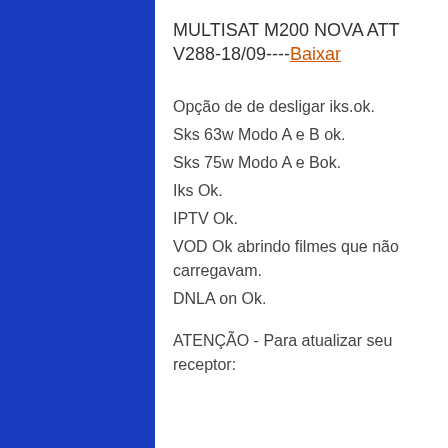MULTISAT M200 NOVA ATT V288-18/09----Baixar
Opção de de desligar iks.ok.
Sks 63w Modo A e B ok.
Sks 75w Modo A e Bok.
Iks Ok.
IPTV Ok.
VOD Ok abrindo filmes que não carregavam.
DNLA on Ok.
ATENÇÃO - Para atualizar seu receptor: